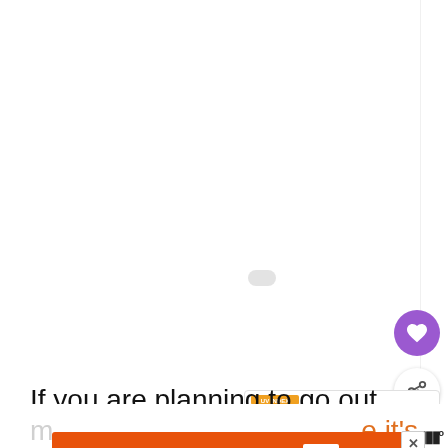[Figure (screenshot): Large white blank content area with a small grey loading spinner/oval in the center]
[Figure (illustration): Purple circular heart/like button on the right side]
[Figure (illustration): White circular share button with share icon on the right side]
[Figure (infographic): WHAT'S NEXT panel with UV index sun graphic and text 'What UV Index is Best for...']
If you are planning to go out in the sun and
[Figure (screenshot): Orange advertisement banner: 'You can help hungry kids.' with No Kid Hungry logo and LEARN HOW button, with X close button]
e it's